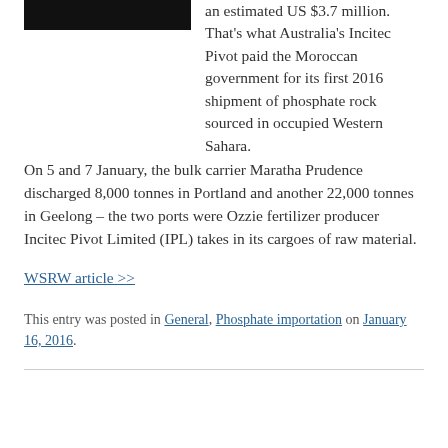[Figure (photo): Dark image of a ship/bulk carrier at sea, cropped at top of page]
an estimated US $3.7 million. That's what Australia's Incitec Pivot paid the Moroccan government for its first 2016 shipment of phosphate rock sourced in occupied Western Sahara.
On 5 and 7 January, the bulk carrier Maratha Prudence discharged 8,000 tonnes in Portland and another 22,000 tonnes in Geelong – the two ports were Ozzie fertilizer producer Incitec Pivot Limited (IPL) takes in its cargoes of raw material.
WSRW article >>
This entry was posted in General, Phosphate importation on January 16, 2016.